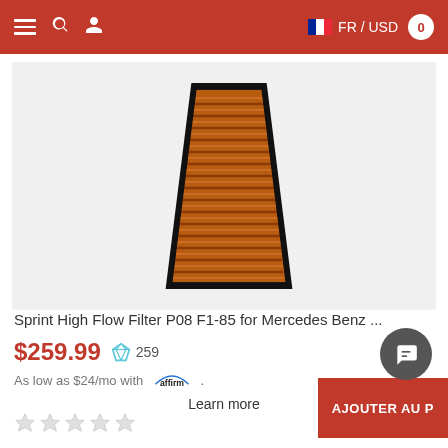≡  🔍  👤   FR / USD   0
[Figure (photo): Sprint High Flow air filter with orange pleated filter media in a black frame, trapezoidal shape, photographed on white background]
Sprint High Flow Filter P08 F1-85 for Mercedes Benz ...
$259.99  ◇ 259
As low as $24/mo with affirm. Learn more
★★★★★  AJOUTER AU P